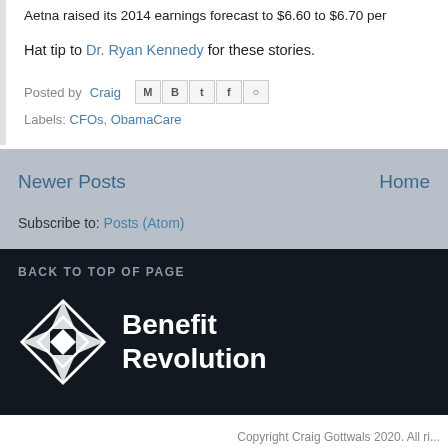Aetna raised its 2014 earnings forecast to $6.60 to $6.70 per
Hat tip to Dr. Ryan Kennedy for these stories.
Posted by Craig [share icons]
Labels: CFOs, ObamaCare
Newer Posts
Home
Subscribe to: Posts (Atom)
BACK TO TOP OF PAGE
[Figure (logo): Benefit Revolution logo with diamond/star geometric shape in white on dark background, beside bold white text reading 'Benefit Revolution']
Copyright Craig Gottwals 2020. All ri...